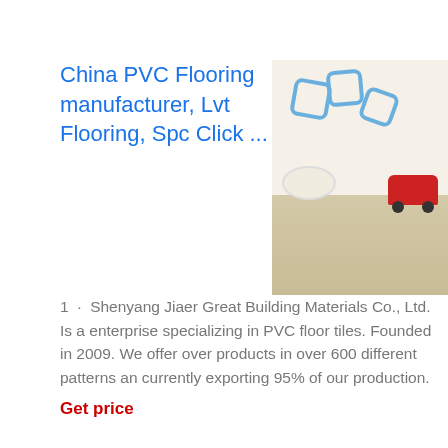China PVC Flooring manufacturer, Lvt Flooring, Spc Click ...
[Figure (photo): Photo of a light wood-colored PVC floor with toy decorations including a red toy car, a white round table with chairs, and colorful flower-shaped wall decorations]
1 · Shenyang Jiaer Great Building Materials Co., Ltd. Is a enterprise specializing in PVC floor tiles. Founded in 2009. We offer over products in over 600 different patterns an currently exporting 95% of our production.
Get price